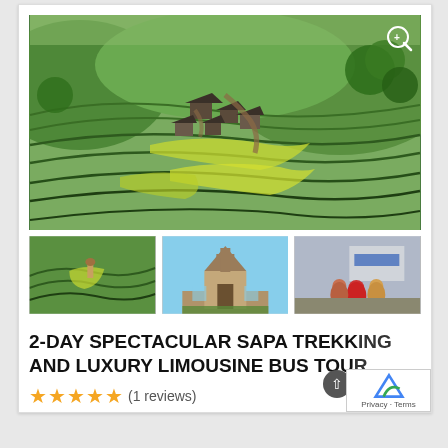[Figure (photo): Aerial view of Sapa rice terraces with traditional village houses amid lush green stepped fields]
[Figure (photo): Three thumbnail photos: rice terraces with people, Sapa stone church, market scene with people]
2-DAY SPECTACULAR SAPA TREKKING AND LUXURY LIMOUSINE BUS TOUR
(1 reviews)